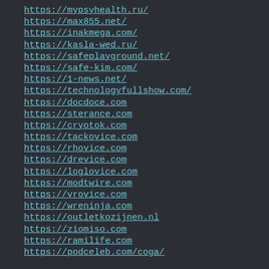https://mypsyhealth.ru/
https://max855.net/
https://inakmega.com/
https://kasla-wed.ru/
https://safeplayground.net/
https://safe-kim.com/
https://1-news.net/
https://technologyfullshow.com/
https://docdoce.com
https://sterance.com
https://cryotok.com
https://tackovice.com
https://rhovice.com
https://drevice.com
https://loglovice.com
https://modtwire.com
https://vrovice.com
https://wreninja.com
https://outletkozijnen.nl
https://ziomiso.com
https://ramilife.com
https://podceleb.com/coga/